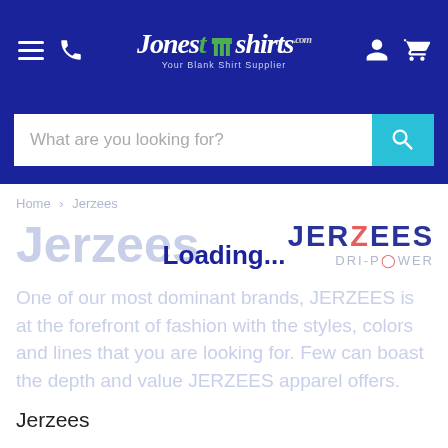Jones T-shirts .com — Your Blank Shirt Supplier (navigation bar)
What are you looking for?
Home > Jerzees
Jerzees
[Figure (logo): JERZEES DRI-POWER brand logo in top-right corner]
Loading...
One of our most dominant brands, JERZEES is at the forefront of fashion with the styles, colors and lines that you are looking for. Few can boast the depth and value JERZEES apparel offers.
Jerzees